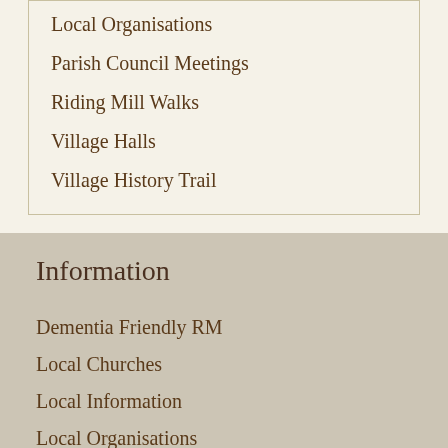Local Organisations
Parish Council Meetings
Riding Mill Walks
Village Halls
Village History Trail
Information
Dementia Friendly RM
Local Churches
Local Information
Local Organisations
Parish Council Meetings